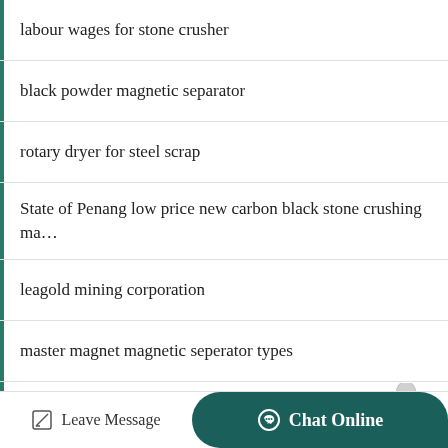labour wages for stone crusher
black powder magnetic separator
rotary dryer for steel scrap
State of Penang low price new carbon black stone crushing ma…
leagold mining corporation
master magnet magnetic seperator types
price sand washing plant
gzd 1100 4200 high efficiency vibrating screen mineral mach…
Leave Message  Chat Online